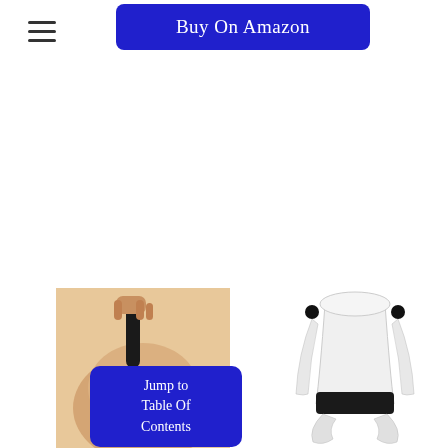[Figure (screenshot): Blue button with white text reading 'Buy On Amazon']
[Figure (photo): Left: person applying a lotion applicator tool to their knee/leg; Right: a white and black lotion/cream applicator device product shot]
[Figure (screenshot): Blue button overlay with white text reading 'Jump to Table Of Contents']